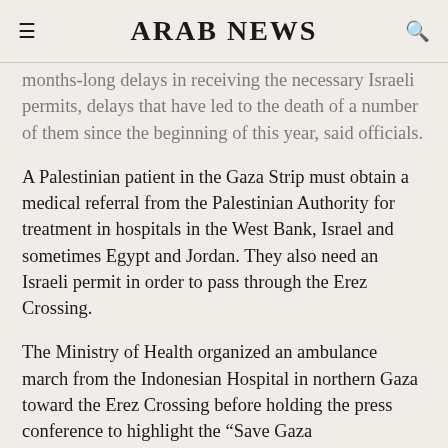ARAB NEWS
months-long delays in receiving the necessary Israeli permits, delays that have led to the death of a number of them since the beginning of this year, said officials.
A Palestinian patient in the Gaza Strip must obtain a medical referral from the Palestinian Authority for treatment in hospitals in the West Bank, Israel and sometimes Egypt and Jordan. They also need an Israeli permit in order to pass through the Erez Crossing.
The Ministry of Health organized an ambulance march from the Indonesian Hospital in northern Gaza toward the Erez Crossing before holding the press conference to highlight the “Save Gaza